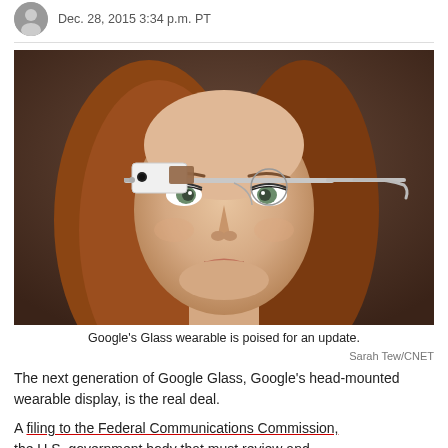Dec. 28, 2015 3:34 p.m. PT
[Figure (photo): Woman wearing Google Glass wearable technology device on her face, close-up portrait photo]
Google's Glass wearable is poised for an update.
Sarah Tew/CNET
The next generation of Google Glass, Google's head-mounted wearable display, is the real deal.
A filing to the Federal Communications Commission, the U.S. government body that must review and